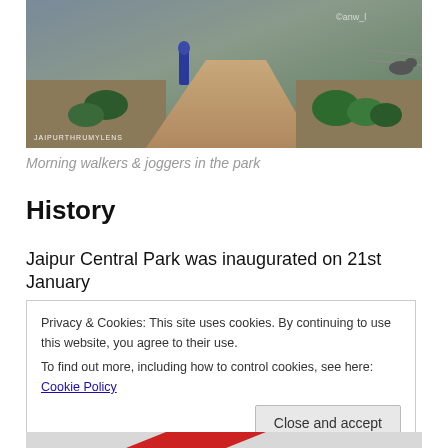[Figure (photo): Morning walkers and joggers on a path in a park, with shrubs and greenery. Watermark reads JAIPURTHRUMYLENS at bottom left.]
Morning walkers & joggers in the park
History
Jaipur Central Park was inaugurated on 21st January
Privacy & Cookies: This site uses cookies. By continuing to use this website, you agree to their use.
To find out more, including how to control cookies, see here: Cookie Policy
Close and accept